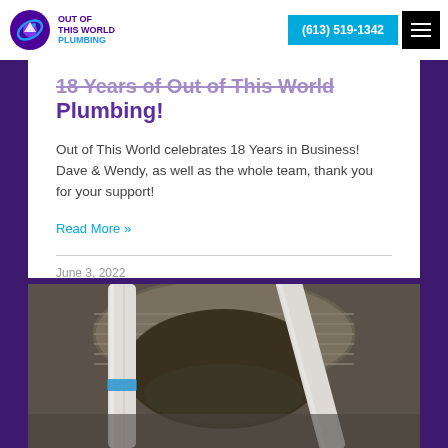Out of This World Plumbing — (613) 519-1342
18 Years of Out of This World Plumbing!
Out of This World celebrates 18 Years in Business! Dave & Wendy, as well as the whole team, thank you for your support!
Read More »
June 3, 2022
[Figure (photo): Close-up photo of plumbing pipes inside a sump pit or well casing, showing white PVC pipes and a metal corrugated cylinder.]